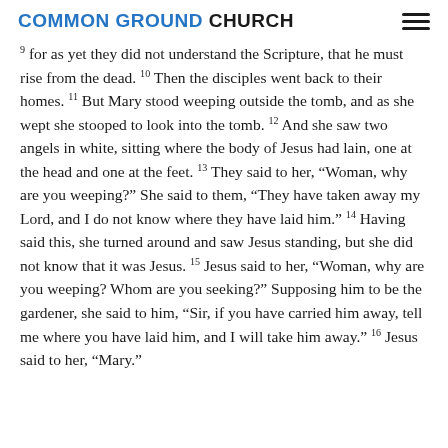COMMON GROUND CHURCH
9 for as yet they did not understand the Scripture, that he must rise from the dead. 10 Then the disciples went back to their homes. 11 But Mary stood weeping outside the tomb, and as she wept she stooped to look into the tomb. 12 And she saw two angels in white, sitting where the body of Jesus had lain, one at the head and one at the feet. 13 They said to her, “Woman, why are you weeping?” She said to them, “They have taken away my Lord, and I do not know where they have laid him.” 14 Having said this, she turned around and saw Jesus standing, but she did not know that it was Jesus. 15 Jesus said to her, “Woman, why are you weeping? Whom are you seeking?” Supposing him to be the gardener, she said to him, “Sir, if you have carried him away, tell me where you have laid him, and I will take him away.” 16 Jesus said to her, “Mary.”